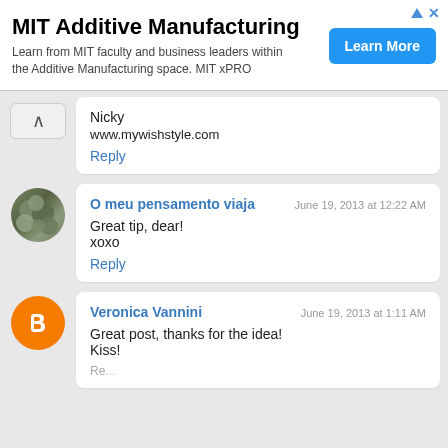[Figure (screenshot): MIT Additive Manufacturing advertisement banner with 'Learn More' button]
Nicky
www.mywishstyle.com
Reply
O meu pensamento viaja
June 19, 2013 at 12:22 AM
Great tip, dear!
xoxo
Reply
Veronica Vannini
June 19, 2013 at 1:11 AM
Great post, thanks for the idea!
Kiss!